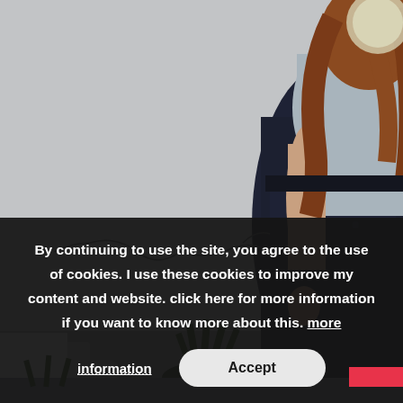[Figure (photo): A person with long reddish-brown hair wearing a light blue/grey t-shirt and dark navy wide-leg trousers standing in front of a white/grey wall with a plant visible at the lower left and a circular light fixture at the upper right. Another person's legs in white pants are visible at the left edge.]
By continuing to use the site, you agree to the use of cookies. I use these cookies to improve my content and website. click here for more information if you want to know more about this. more information
Accept